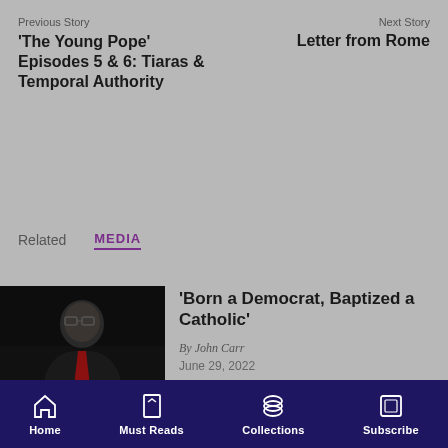Previous Story
'The Young Pope' Episodes 5 & 6: Tiaras & Temporal Authority
Next Story
Letter from Rome
Related
MEDIA
[Figure (photo): Dark photo of a man speaking, wearing glasses and a red tie, gesturing with hands]
'Born a Democrat, Baptized a Catholic'
By John Carr
June 29, 2022
Home  Must Reads  Collections  Subscribe